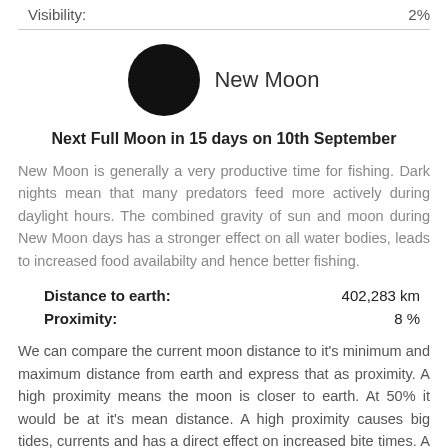Visibility: 2%
[Figure (illustration): Black filled circle representing New Moon phase, with label 'New Moon' to its right]
Next Full Moon in 15 days on 10th September
New Moon is generally a very productive time for fishing. Dark nights mean that many predators feed more actively during daylight hours. The combined gravity of sun and moon during New Moon days has a stronger effect on all water bodies, leads to increased food availabilty and hence better fishing.
| Distance to earth: | 402,283 km |
| Proximity: | 8 % |
We can compare the current moon distance to it's minimum and maximum distance from earth and express that as proximity. A high proximity means the moon is closer to earth. At 50% it would be at it's mean distance. A high proximity causes big tides, currents and has a direct effect on increased bite times. A proximity greater than 90% indicates a super